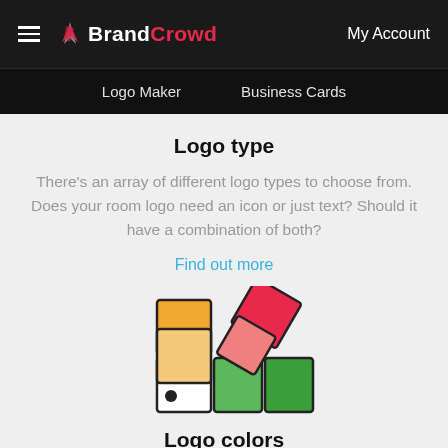BrandCrowd — Logo Maker | Business Cards | My Account
Logo type
There's an array of different logo types to choose from. Does your room logo need an icon or just text? Should it have a combination of both?
Find out more
[Figure (illustration): Color swatches illustration: orange and white squares stacked, a red rotated square on top, pink square below it, and two green squares at the bottom right, with a small black dot on the white square.]
Logo colors
Want to convey trustworthiness? Want to appear fun